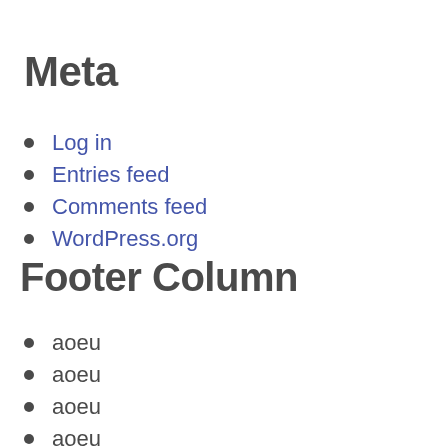Meta
Log in
Entries feed
Comments feed
WordPress.org
Footer Column
aoeu
aoeu
aoeu
aoeu
aoeu